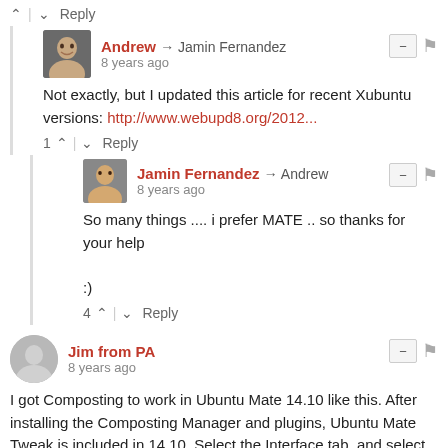^ | v Reply
Andrew → Jamin Fernandez
8 years ago
Not exactly, but I updated this article for recent Xubuntu versions: http://www.webupd8.org/2012...
1 ^ | v Reply
Jamin Fernandez → Andrew
8 years ago
So many things .... i prefer MATE .. so thanks for your help

:)
4 ^ | v Reply
Jim from PA
8 years ago
I got Composting to work in Ubuntu Mate 14.10 like this. After installing the Composting Manager and plugins, Ubuntu Mate Tweak is included in 14.10. Select the Interface tab, and select "Use Composting". Ubuntu Mate is an excellent polished